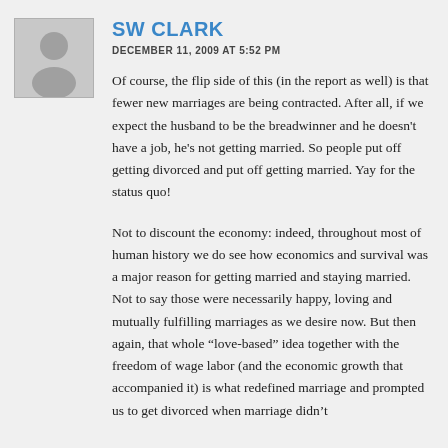[Figure (photo): Generic grey silhouette avatar placeholder image]
SW CLARK
DECEMBER 11, 2009 AT 5:52 PM
Of course, the flip side of this (in the report as well) is that fewer new marriages are being contracted. After all, if we expect the husband to be the breadwinner and he doesn't have a job, he's not getting married. So people put off getting divorced and put off getting married. Yay for the status quo!
Not to discount the economy: indeed, throughout most of human history we do see how economics and survival was a major reason for getting married and staying married. Not to say those were necessarily happy, loving and mutually fulfilling marriages as we desire now. But then again, that whole “love-based” idea together with the freedom of wage labor (and the economic growth that accompanied it) is what redefined marriage and prompted us to get divorced when marriage didn't